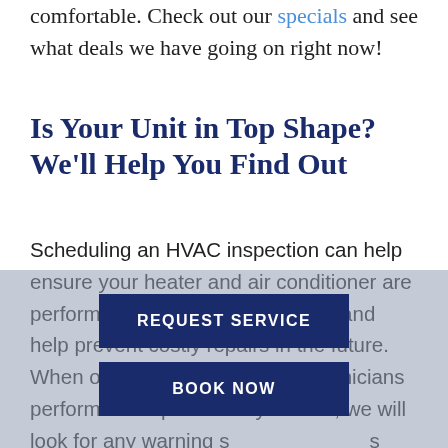comfortable. Check out our specials and see what deals we have going on right now!
Is Your Unit in Top Shape? We'll Help You Find Out
Scheduling an HVAC inspection can help ensure your heater and air conditioner are performing as well as they can be and help prevent costly repairs in the future. When our professional HVAC technicians perform an inspection of your unit, we will look for any warning signs and test to see that your unit is running properly. To maintain the comfort of your home by keeping your heating and cooling systems in top shape is key. When you
REQUEST SERVICE
BOOK NOW